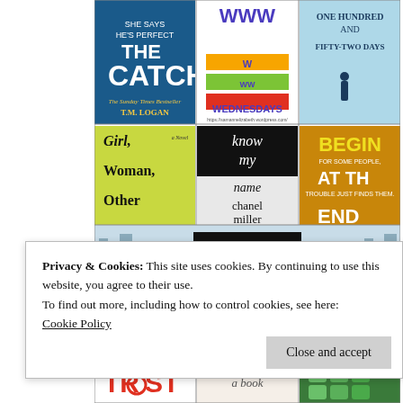[Figure (photo): Grid of 6 book covers: The Catch by T.M. Logan, WWW Wednesdays (blog), One Hundred and Fifty-Two Days, Girl Woman Other (novel), Know My Name by Chanel Miller, Begin at the End]
[Figure (photo): Partial book cover showing Motherwell]
Privacy & Cookies: This site uses cookies. By continuing to use this website, you agree to their use.
To find out more, including how to control cookies, see here:
Cookie Policy
Close and accept
[Figure (photo): Bottom strip showing partial book covers: TRUST (red text), a handwritten-style cover, and a green puzzle-piece cover]